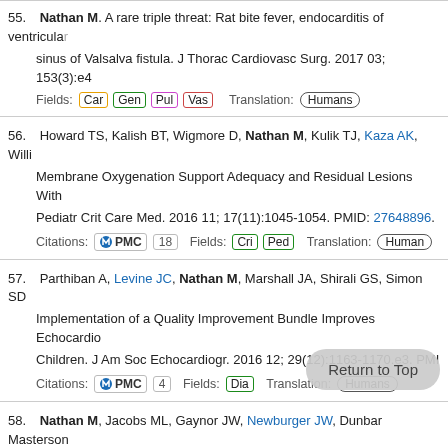55. Nathan M. A rare triple threat: Rat bite fever, endocarditis of ventricular sinus of Valsalva fistula. J Thorac Cardiovasc Surg. 2017 03; 153(3):e4
Fields: Car Gen Pul Vas Translation: Humans
56. Howard TS, Kalish BT, Wigmore D, Nathan M, Kulik TJ, Kaza AK, Willi... Membrane Oxygenation Support Adequacy and Residual Lesions With... Pediatr Crit Care Med. 2016 11; 17(11):1045-1054. PMID: 27648896.
Citations: PMC 18 Fields: Cri Ped Translation: Humans
57. Parthiban A, Levine JC, Nathan M, Marshall JA, Shirali GS, Simon SD... Implementation of a Quality Improvement Bundle Improves Echocardio... Children. J Am Soc Echocardiogr. 2016 12; 29(12):1163-1170.e3. PMI...
Citations: PMC 4 Fields: Dia Translation: Humans
58. Nathan M, Jacobs ML, Gaynor JW, Newburger JW, Dunbar Masterson... White O, Anderson BR, Bell MC, Burch PT, Graham EM, Kaltman JR, M... MD, Jacobs JP, Pasquali SK. Completeness and Accuracy of Local Cli... Surgery. Ann Thorac Surg. 2017 Feb; 103(2):629-636. PMID: 2772685...
Citations: PMC 6 Altmetric 1 Translation:
59. Fabozzo A, DiOrio M, Newburger JW, Powell AJ, Liu H, Fynn-Thompso...